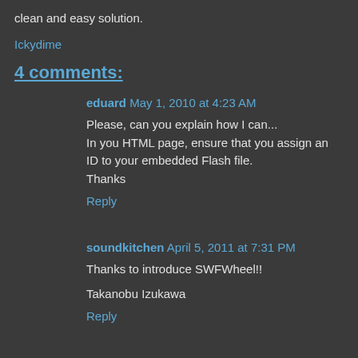clean and easy solution.
Ickydime
4 comments:
eduard May 1, 2010 at 4:23 AM
Please, can you explain how I can...
In you HTML page, ensure that you assign an ID to your embedded Flash file.
Thanks
Reply
soundkitchen April 5, 2011 at 7:31 PM
Thanks to introduce SWFWheel!!
Takanobu Izukawa
Reply